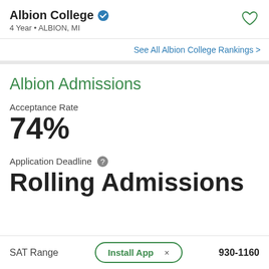Albion College ✓
4 Year • ALBION, MI
See All Albion College Rankings >
Albion Admissions
Acceptance Rate
74%
Application Deadline
Rolling Admissions
SAT Range   930-1160
Install App  ×